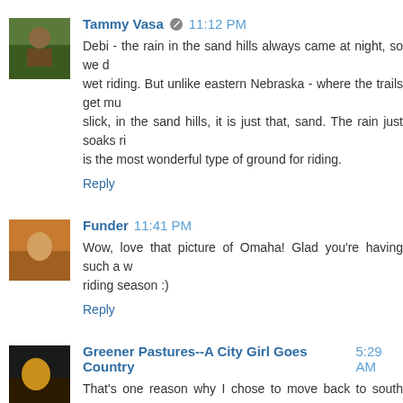Tammy Vasa  11:12 PM
Debi - the rain in the sand hills always came at night, so we did not have wet riding. But unlike eastern Nebraska - where the trails get muddy and slick, in the sand hills, it is just that, sand. The rain just soaks right in - is the most wonderful type of ground for riding.
Reply
Funder  11:41 PM
Wow, love that picture of Omaha! Glad you're having such a wonderful riding season :)
Reply
Greener Pastures--A City Girl Goes Country  5:29 AM
That's one reason why I chose to move back to south Jersey rather than north Jersey. It's sandier down there. The footing is great for the horses IF I ever get out of here...
Reply